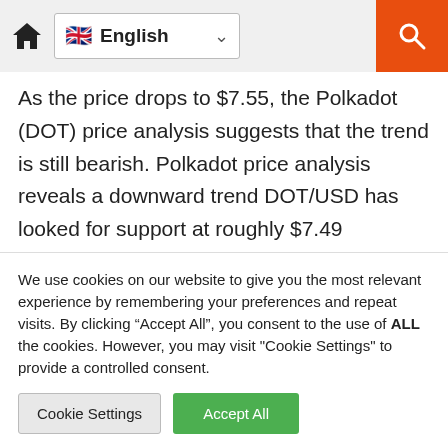English
As the price drops to $7.55, the Polkadot (DOT) price analysis suggests that the trend is still bearish. Polkadot price analysis reveals a downward trend DOT/USD has looked for support at roughly $7.49 DOT/USD  is encountering resistance at $7.74 Previously trading at about $7.74, Polkadot is now looking for support at about $7.49. The price of DOT/USD is still facing resistance at $7.74, but if it drops below $7.49, it might
We use cookies on our website to give you the most relevant experience by remembering your preferences and repeat visits. By clicking “Accept All”, you consent to the use of ALL the cookies. However, you may visit "Cookie Settings" to provide a controlled consent.